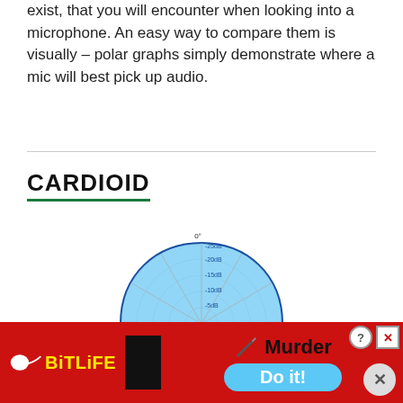exist, that you will encounter when looking into a microphone. An easy way to compare them is visually – polar graphs simply demonstrate where a mic will best pick up audio.
CARDIOID
[Figure (other): Polar/cardioid microphone pickup pattern diagram showing a heart-shaped blue polar pattern with concentric dB rings labeled -5dB, -10dB, -15dB, -20dB, -25dB, with 0° at the top]
[Figure (other): BitLife advertisement banner with red background showing sperm logo, BitLife text, knife graphic, 'Murder Do it!' text with blue button]